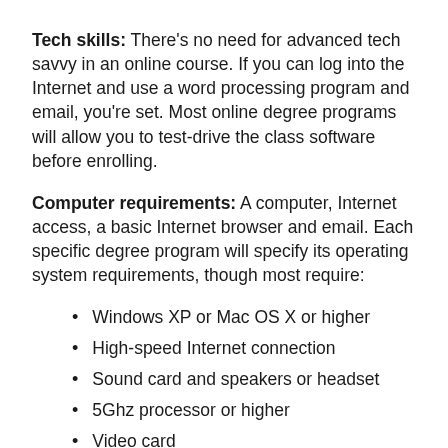Tech skills: There's no need for advanced tech savvy in an online course. If you can log into the Internet and use a word processing program and email, you're set. Most online degree programs will allow you to test-drive the class software before enrolling.
Computer requirements: A computer, Internet access, a basic Internet browser and email. Each specific degree program will specify its operating system requirements, though most require:
Windows XP or Mac OS X or higher
High-speed Internet connection
Sound card and speakers or headset
5Ghz processor or higher
Video card